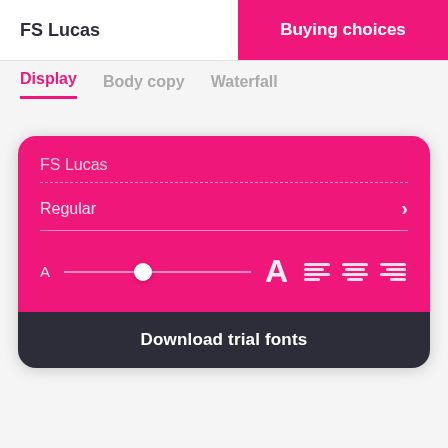FS Lucas
Buying choices
Display  Body copy  Waterfall
[Figure (screenshot): Font preview card with pink background showing FS Lucas font name, Regular style selector with arrow, a font size slider from small A to large A, alignment icons, and a dark Download trial fonts button at bottom]
Download trial fonts